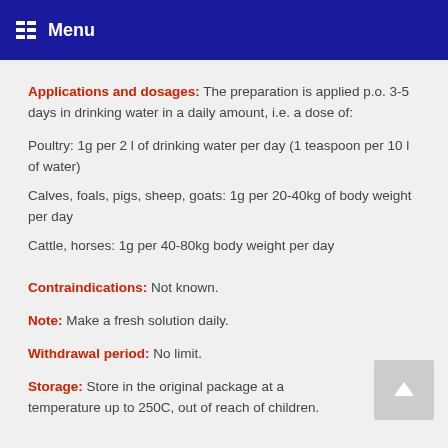Menu
Applications and dosages: The preparation is applied p.o. 3-5 days in drinking water in a daily amount, i.e. a dose of:
Poultry: 1g per 2 l of drinking water per day (1 teaspoon per 10 l of water)
Calves, foals, pigs, sheep, goats: 1g per 20-40kg of body weight per day
Cattle, horses: 1g per 40-80kg body weight per day
Contraindications: Not known.
Note: Make a fresh solution daily.
Withdrawal period: No limit.
Storage: Store in the original package at a temperature up to 250C, out of reach of children.